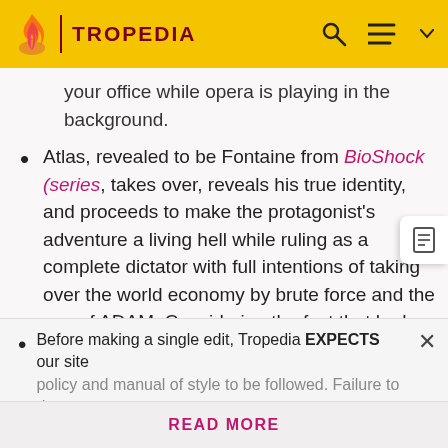TROPEDIA
your office while opera is playing in the background.
Atlas, revealed to be Fontaine from BioShock (series), takes over, reveals his true identity, and proceeds to make the protagonist's adventure a living hell while ruling as a complete dictator with full intentions of taking over the world economy by brute force and the use of ADAM. Considering the fact that he has no ideology compared to Ryan, this gives him no restraints as the ruler of the city.
Which, considering that Ryan's own restraints
Before making a single edit, Tropedia EXPECTS our site policy and manual of style to be followed. Failure to do so may
READ MORE